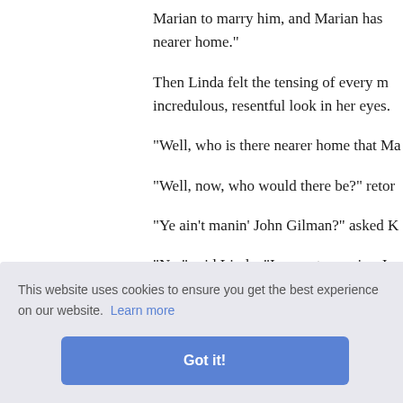Marian to marry him, and Marian has nearer home."
Then Linda felt the tensing of every m incredulous, resentful look in her eyes.
"Well, who is there nearer home that Ma
"Well, now, who would there be?" retor
"Ye ain't manin' John Gilman?" asked K
"No," said Linda, "I am not meaning Jo
self well ne's goin
etty muc rian need
let him go. If she had been willing to
[Figure (screenshot): Cookie consent banner with text 'This website uses cookies to ensure you get the best experience on our website. Learn more' and a blue 'Got it!' button.]